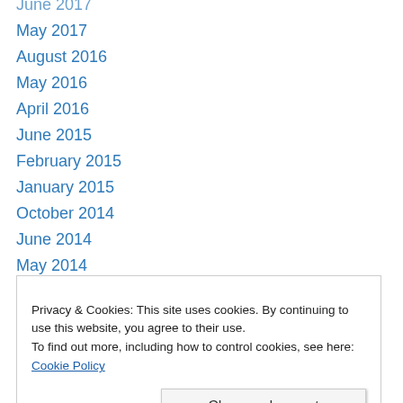June 2017
May 2017
August 2016
May 2016
April 2016
June 2015
February 2015
January 2015
October 2014
June 2014
May 2014
April 2014
February 2014
December 2013
Privacy & Cookies: This site uses cookies. By continuing to use this website, you agree to their use.
To find out more, including how to control cookies, see here: Cookie Policy
September 2012